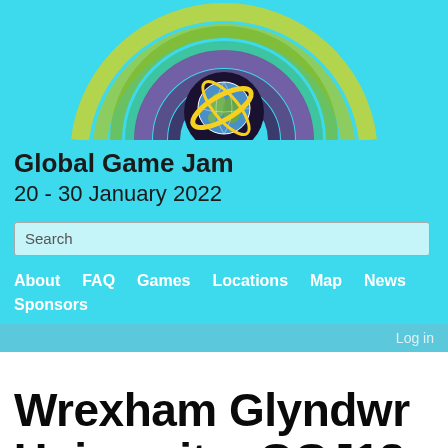[Figure (logo): Global Game Jam logo with globe and concentric colorful arcs on cyan background]
Global Game Jam
20 - 30 January 2022
Search
About  FAQ  Games  Locations  Map  News  Sponsors
Log in
Wrexham Glyndwr University: GGJ18